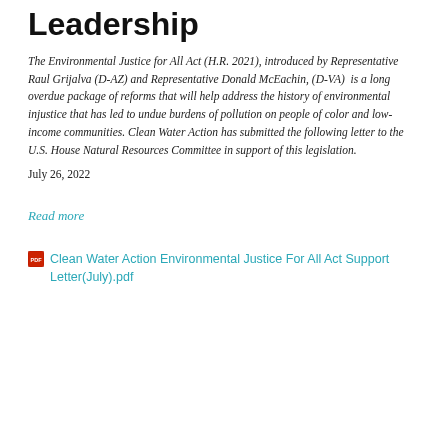Leadership
The Environmental Justice for All Act (H.R. 2021), introduced by Representative Raul Grijalva (D-AZ) and Representative Donald McEachin, (D-VA) is a long overdue package of reforms that will help address the history of environmental injustice that has led to undue burdens of pollution on people of color and low-income communities. Clean Water Action has submitted the following letter to the U.S. House Natural Resources Committee in support of this legislation.
July 26, 2022
Read more
Clean Water Action Environmental Justice For All Act Support Letter(July).pdf